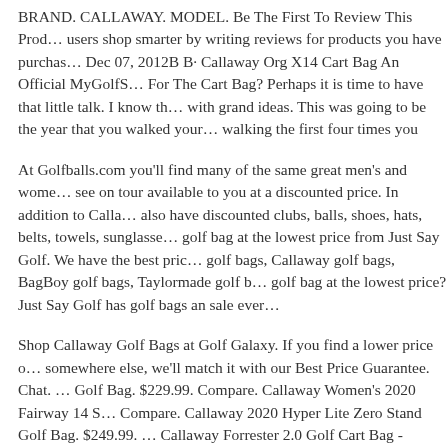BRAND. CALLAWAY. MODEL. Be The First To Review This Prod... users shop smarter by writing reviews for products you have purcha... Dec 07, 2012B B· Callaway Org X14 Cart Bag An Official MyGolfS... For The Cart Bag? Perhaps it is time to have that little talk. I know th... with grand ideas. This was going to be the year that you walked your... walking the first four times you
At Golfballs.com you'll find many of the same great men's and wome... see on tour available to you at a discounted price. In addition to Calla... also have discounted clubs, balls, shoes, hats, belts, towels, sunglasse... golf bag at the lowest price from Just Say Golf. We have the best pric... golf bags, Callaway golf bags, BagBoy golf bags, Taylormade golf b... golf bag at the lowest price? Just Say Golf has golf bags an sale ever...
Shop Callaway Golf Bags at Golf Galaxy. If you find a lower price o... somewhere else, we'll match it with our Best Price Guarantee. Chat. ... Golf Bag. $229.99. Compare. Callaway Women's 2020 Fairway 14 S... Compare. Callaway 2020 Hyper Lite Zero Stand Golf Bag. $249.99. ... Callaway Forrester 2.0 Golf Cart Bag - RED/BLK/WHT at Golf Wo...